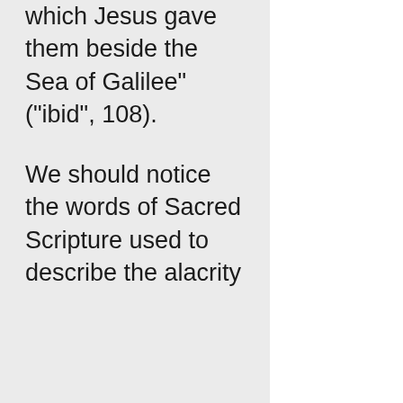which Jesus gave them beside the Sea of Galilee" ("ibid", 108).
We should notice the words of Sacred Scripture used to describe the alacrity